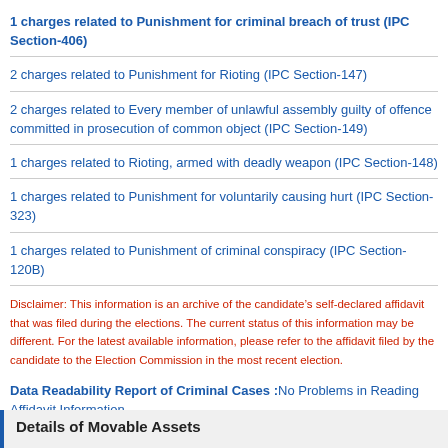1 charges related to Punishment for criminal breach of trust (IPC Section-406)
2 charges related to Punishment for Rioting (IPC Section-147)
2 charges related to Every member of unlawful assembly guilty of offence committed in prosecution of common object (IPC Section-149)
1 charges related to Rioting, armed with deadly weapon (IPC Section-148)
1 charges related to Punishment for voluntarily causing hurt (IPC Section-323)
1 charges related to Punishment of criminal conspiracy (IPC Section-120B)
Disclaimer: This information is an archive of the candidate’s self-declared affidavit that was filed during the elections. The current status of this information may be different. For the latest available information, please refer to the affidavit filed by the candidate to the Election Commission in the most recent election.
Data Readability Report of Criminal Cases :No Problems in Reading Affidavit Information
Details of Movable Assets